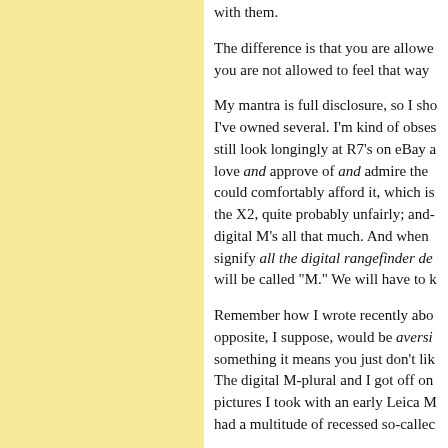with them.

The difference is that you are allowed to feel that way about them, but you are not allowed to feel that way.

My mantra is full disclosure, so I should say that I've owned several. I'm kind of obsessed. I still look longingly at R7's on eBay and I love and approve of and admire the X2, could comfortably afford it, which is... the X2, quite probably unfairly; and-digital M's all that much. And when signify all the digital rangefinder de-will be called "M." We will have to k

Remember how I wrote recently abo-opposite, I suppose, would be aversi-something it means you just don't lik-The digital M-plural and I got off on pictures I took with an early Leica M had a multitude of recessed so-calle